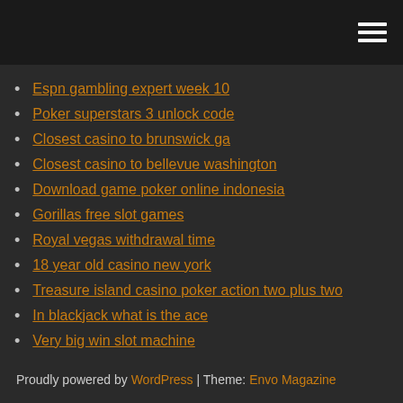[hamburger menu icon]
Espn gambling expert week 10
Poker superstars 3 unlock code
Closest casino to brunswick ga
Closest casino to bellevue washington
Download game poker online indonesia
Gorillas free slot games
Royal vegas withdrawal time
18 year old casino new york
Treasure island casino poker action two plus two
In blackjack what is the ace
Very big win slot machine
Proudly powered by WordPress | Theme: Envo Magazine